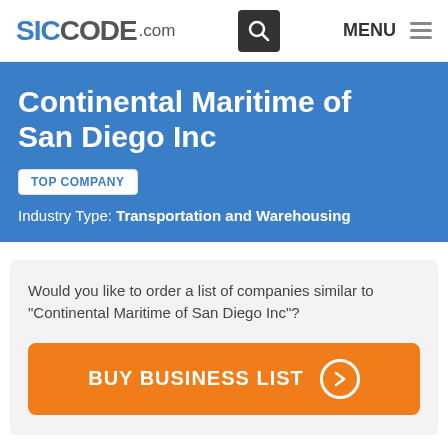SICCODE.com  MENU
Continental Maritime of San Diego Inc
TOP COMPANY
Industry Type: Transportation and Warehousing
Would you like to order a list of companies similar to "Continental Maritime of San Diego Inc"?
BUY BUSINESS LIST